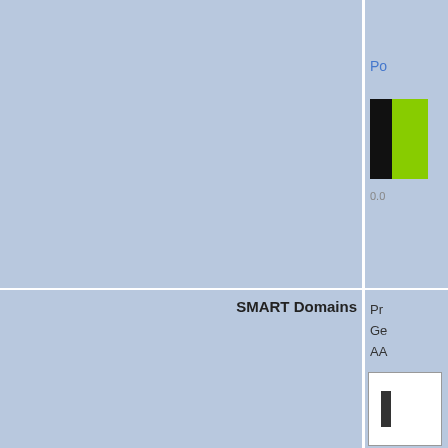Po
[Figure (other): Color bar showing black and green segments representing positional score]
0.0
SMART Domains
Pr
Ge
AA
[Figure (other): Small domain diagram bar]
0
| D |
| --- |
| C |
| B |
Predicted Effect
pr
Tra
SMART Domains